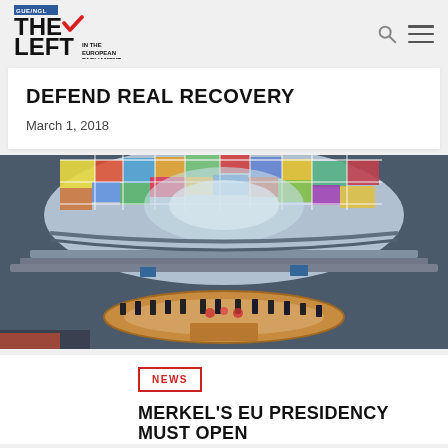[Figure (logo): The Left in the European Parliament - GUE/NGL logo with checkmark in red/green/yellow]
DEFEND REAL RECOVERY
March 1, 2018
[Figure (photo): EU Council chamber interior with colorful ceiling and delegates seated around a circular table]
NEWS
MERKEL'S EU PRESIDENCY MUST OPEN